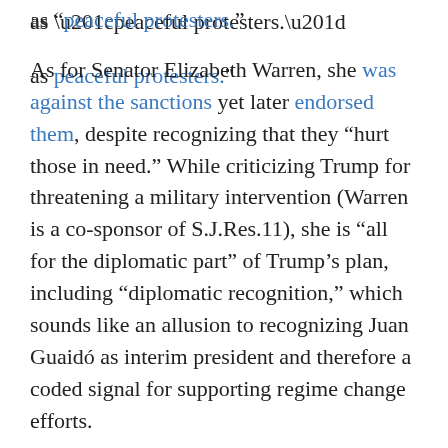as “peaceful protesters.”
As for Senator Elizabeth Warren, she was against the sanctions yet later endorsed them, despite recognizing that they “hurt those in need.” While criticizing Trump for threatening a military intervention (Warren is a co-sponsor of S.J.Res.11), she is “all for the diplomatic part” of Trump’s plan, including “diplomatic recognition,” which sounds like an allusion to recognizing Juan Guaidó as interim president and therefore a coded signal for supporting regime change efforts.
And it only gets worse from there. Joining Trump and Biden in explicitly recognizing Guaidó and pushing for sanctions are Mayor